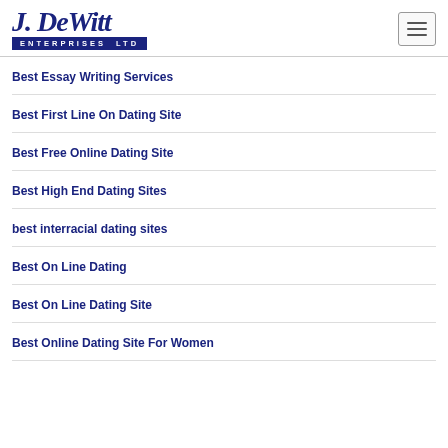[Figure (logo): J. DeWitt Enterprises Ltd logo with blue script text and navy blue bar]
Best Essay Writing Services
Best First Line On Dating Site
Best Free Online Dating Site
Best High End Dating Sites
best interracial dating sites
Best On Line Dating
Best On Line Dating Site
Best Online Dating Site For Women